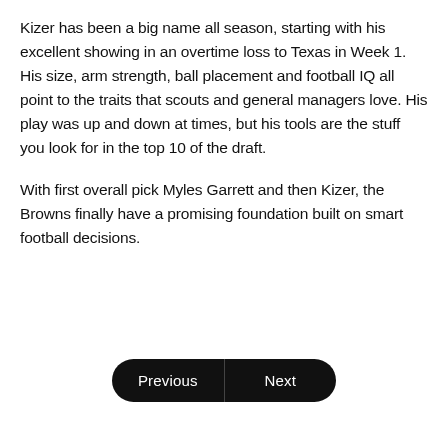Kizer has been a big name all season, starting with his excellent showing in an overtime loss to Texas in Week 1. His size, arm strength, ball placement and football IQ all point to the traits that scouts and general managers love. His play was up and down at times, but his tools are the stuff you look for in the top 10 of the draft.
With first overall pick Myles Garrett and then Kizer, the Browns finally have a promising foundation built on smart football decisions.
Previous | Next